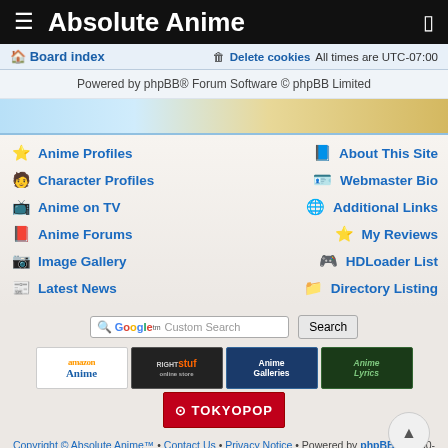Absolute Anime
Board index | Delete cookies | All times are UTC-07:00
Powered by phpBB® Forum Software © phpBB Limited
Anime Profiles
About This Site
Character Profiles
Webmaster Bio
Anime on TV
Additional Links
Anime Forums
My Reviews
Image Gallery
HDLoader List
Latest News
Directory Listing
[Figure (screenshot): Google Custom Search bar with Search button]
[Figure (screenshot): Sponsor banners: amazon Anime, RightStuf online store, Anime Galleries, Anime Lyrics, TOKYOPOP]
Copyright © Absolute Anime™ • Contact Us • Privacy Notice • Powered by phpBB © 2000-present phpBB Group